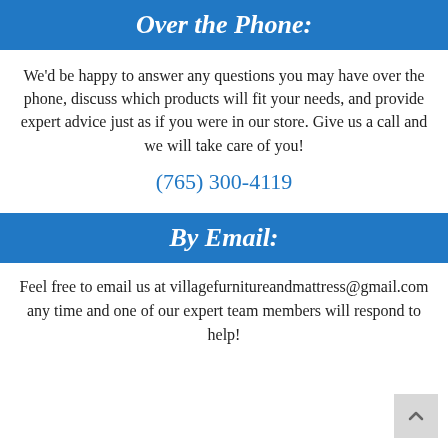Over the Phone:
We'd be happy to answer any questions you may have over the phone, discuss which products will fit your needs, and provide expert advice just as if you were in our store. Give us a call and we will take care of you!
(765) 300-4119
By Email:
Feel free to email us at villagefurnitureandmattress@gmail.com any time and one of our expert team members will respond to help!